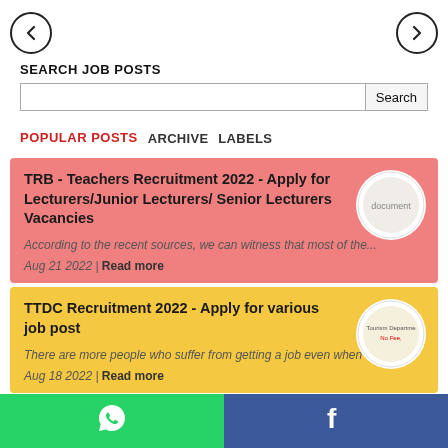[Figure (illustration): Left navigation arrow (back) in circle]
[Figure (illustration): Right navigation arrow (forward) in circle]
SEARCH JOB POSTS
[Figure (screenshot): Search input bar with Search button]
POPULAR POSTS   ARCHIVE   LABELS
TRB - Teachers Recruitment 2022 - Apply for Lecturers/Junior Lecturers/ Senior Lecturers Vacancies
According to the recent sources, we can witness that most of the...
Aug 21 2022 | Read more
TTDC Recruitment 2022 - Apply for various job post
There are more people who suffer from getting a job even when they...
Aug 18 2022 | Read more
Erode District Recruitment 2022 - Apply
[Figure (illustration): WhatsApp share button (green background, white icon)]
[Figure (illustration): Facebook share button (blue background, white f icon)]